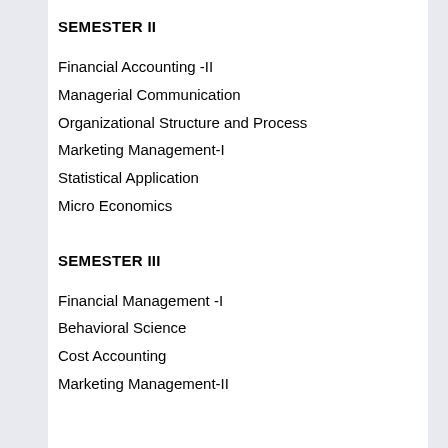SEMESTER II
Financial Accounting -II
Managerial Communication
Organizational Structure and Process
Marketing Management-I
Statistical Application
Micro Economics
SEMESTER III
Financial Management -I
Behavioral Science
Cost Accounting
Marketing Management-II